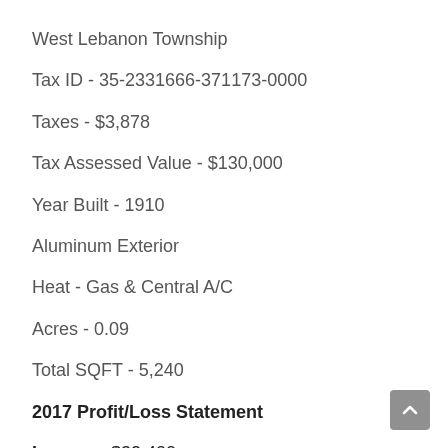West Lebanon Township
Tax ID - 35-2331666-371173-0000
Taxes - $3,878
Tax Assessed Value - $130,000
Year Built - 1910
Aluminum Exterior
Heat - Gas & Central A/C
Acres - 0.09
Total SQFT - 5,240
2017 Profit/Loss Statement
Income - $32,400